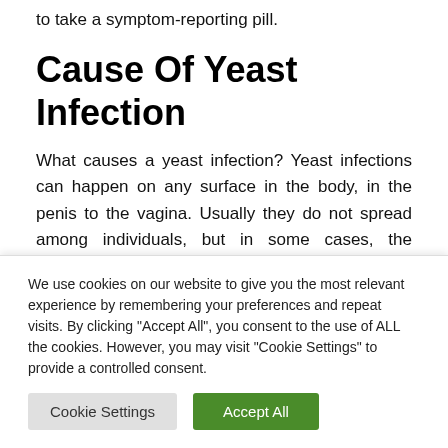to take a symptom-reporting pill.
Cause Of Yeast Infection
What causes a yeast infection? Yeast infections can happen on any surface in the body, in the penis to the vagina. Usually they do not spread among individuals, but in some cases, the symptoms can worsen just before the commence of a period. In other circumstances, a yeast infection could happen just before the start of a period
We use cookies on our website to give you the most relevant experience by remembering your preferences and repeat visits. By clicking "Accept All", you consent to the use of ALL the cookies. However, you may visit "Cookie Settings" to provide a controlled consent.